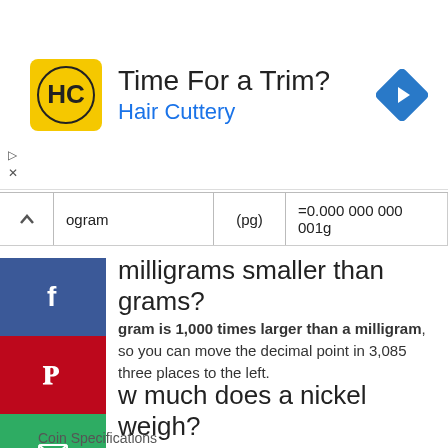[Figure (photo): Advertisement banner for Hair Cuttery with logo, text 'Time For a Trim?' and 'Hair Cuttery', and a blue navigation arrow icon]
|  | ogram | (pg) | =0.000 000 000 001g |
| --- | --- | --- | --- |
milligrams smaller than grams?
gram is 1,000 times larger than a milligram, so you can move the decimal point in 3,085 three places to the left.
w much does a nickel weigh?
Coin Specifications
| Denomination | Cent | Nickel |
| --- | --- | --- |
| Weight | 2.500 g | 5.000 g |